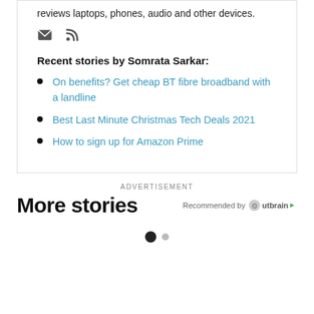reviews laptops, phones, audio and other devices.
[Figure (illustration): Email envelope icon and RSS feed icon]
Recent stories by Somrata Sarkar:
On benefits? Get cheap BT fibre broadband with a landline
Best Last Minute Christmas Tech Deals 2021
How to sign up for Amazon Prime
ADVERTISEMENT
More stories
Recommended by Outbrain